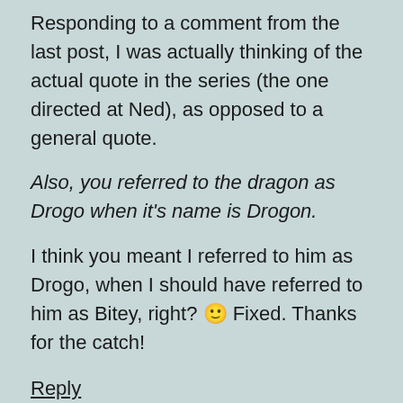Responding to a comment from the last post, I was actually thinking of the actual quote in the series (the one directed at Ned), as opposed to a general quote.
Also, you referred to the dragon as Drogo when it's name is Drogon.
I think you meant I referred to him as Drogo, when I should have referred to him as Bitey, right? 🙂 Fixed. Thanks for the catch!
Reply